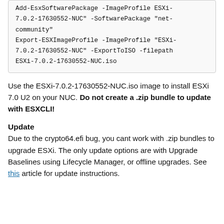Add-EsxSoftwarePackage -ImageProfile "ESXi-7.0.2-17630552-NUC" -SoftwarePackage "net-community"
Export-ESXImageProfile -ImageProfile "ESXi-7.0.2-17630552-NUC" -ExportToISO -filepath ESXi-7.0.2-17630552-NUC.iso
Use the ESXi-7.0.2-17630552-NUC.iso image to install ESXi 7.0 U2 on your NUC. Do not create a .zip bundle to update with ESXCLI!
Update
Due to the crypto64.efi bug, you cant work with .zip bundles to upgrade ESXi. The only update options are with Upgrade Baselines using Lifecycle Manager, or offline upgrades. See this article for update instructions.